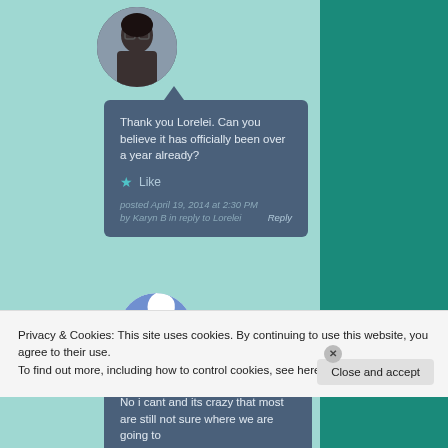[Figure (photo): Circular avatar photo of a person with glasses in front of a bookshelf]
Thank you Lorelei. Can you believe it has officially been over a year already?
Like
posted April 19, 2014 at 2:30 PM by Karyn B in reply to Lorelei   Reply
[Figure (illustration): Circular avatar with a decorative blue and white pattern]
No i cant and its crazy that most are still not sure where we are going to
Privacy & Cookies: This site uses cookies. By continuing to use this website, you agree to their use.
To find out more, including how to control cookies, see here: Cookie Policy
Close and accept